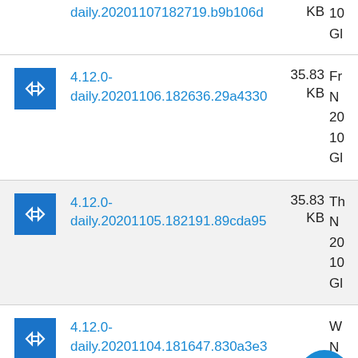4.12.0-daily.20201107... KB 10 Gl
4.12.0-daily.20201106.182636.29a4330 35.83 KB Fr N 20 10 Gl
4.12.0-daily.20201105.182191.89cda95 35.83 KB Th N 20 10 Gl
4.12.0-daily.20201104.181647.830a3e3 W N 20 10